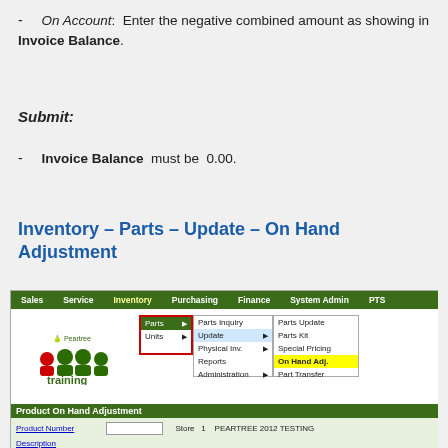- On Account: Enter the negative combined amount as showing in Invoice Balance.
Submit:
- Invoice Balance must be 0.00.
Inventory – Parts – Update – On Hand Adjustment
[Figure (screenshot): Screenshot of inventory software showing navigation menu: Inventory > Parts > Update > On Hand Adj., and a Product On Hand Adjustment form with fields: Product Number, Description, Price, Stocking UOM, Purchasing UOM, Stock To Purch. Ratio, and Purchasing UOM Cost. Store 1 PEARTREE 2012 TESTING.]